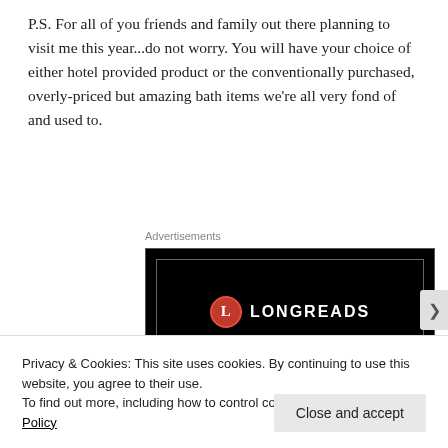P.S. For all of you friends and family out there planning to visit me this year...do not worry. You will have your choice of either hotel provided product or the conventionally purchased, overly-priced but amazing bath items we're all very fond of and used to.
Advertisements
[Figure (logo): LONGREADS advertisement on black background with red circle logo and text 'Read anything great lately?']
Privacy & Cookies: This site uses cookies. By continuing to use this website, you agree to their use.
To find out more, including how to control cookies, see here: Cookie Policy
Close and accept